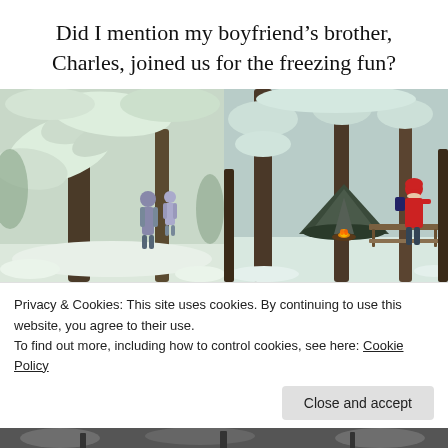Did I mention my boyfriend’s brother, Charles, joined us for the freezing fun?
[Figure (photo): Two snowy winter forest photos side by side. Left: snow-covered trees with two people walking in the background. Right: person in red jacket at a picnic table with a tent and campfire in snowy forest.]
Privacy & Cookies: This site uses cookies. By continuing to use this website, you agree to their use.
To find out more, including how to control cookies, see here: Cookie Policy
Close and accept
[Figure (photo): Bottom strip of a black and white winter outdoor scene.]